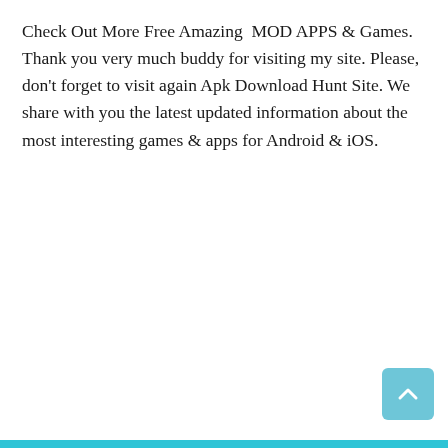Check Out More Free Amazing MOD APPS & Games. Thank you very much buddy for visiting my site. Please, don't forget to visit again Apk Download Hunt Site. We share with you the latest updated information about the most interesting games & apps for Android & iOS.